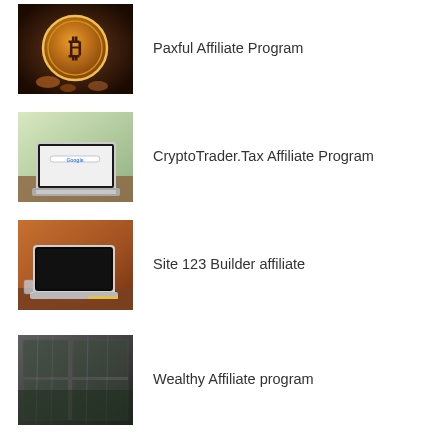[Figure (photo): Bitcoin gold coin on dark background]
Paxful Affiliate Program
[Figure (photo): Laptop with Google search page on screen, on a desk]
CryptoTrader.Tax Affiliate Program
[Figure (photo): Open laptop on wooden table]
Site 123 Builder affiliate
[Figure (photo): Dark rainy window scene with laptop]
Wealthy Affiliate program